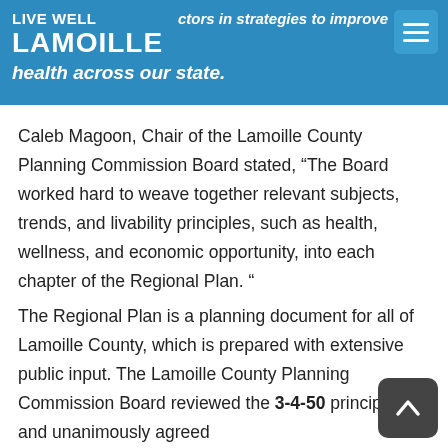LIVE WELL LAMOILLE — ctors in strategies to improve health across our state.
Caleb Magoon, Chair of the Lamoille County Planning Commission Board stated, “The Board worked hard to weave together relevant subjects, trends, and livability principles, such as health, wellness, and economic opportunity, into each chapter of the Regional Plan. “
The Regional Plan is a planning document for all of Lamoille County, which is prepared with extensive public input. The Lamoille County Planning Commission Board reviewed the 3-4-50 principles and unanimously agreed